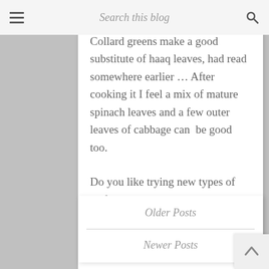Search this blog
Collard greens make a good substitute of haaq leaves, had read somewhere earlier ... After cooking it I feel a mix of mature spinach leaves and a few outer leaves of cabbage can be good too.
Do you like trying new types of leafy greens?
[Figure (infographic): Document icon and social sharing icons (Facebook, Twitter, Google+, Pinterest)]
Older Posts
Newer Posts